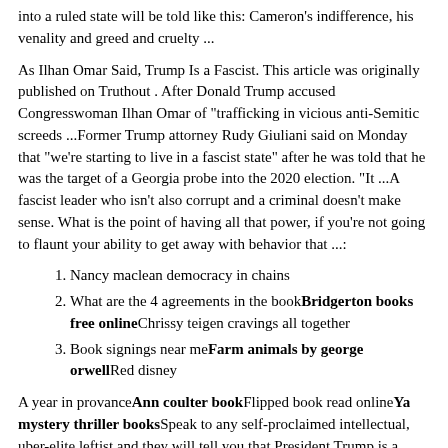into a ruled state will be told like this: Cameron's indifference, his venality and greed and cruelty ...
As Ilhan Omar Said, Trump Is a Fascist. This article was originally published on Truthout . After Donald Trump accused Congresswoman Ilhan Omar of "trafficking in vicious anti-Semitic screeds ...Former Trump attorney Rudy Giuliani said on Monday that "we're starting to live in a fascist state" after he was told that he was the target of a Georgia probe into the 2020 election. "It ...A fascist leader who isn't also corrupt and a criminal doesn't make sense. What is the point of having all that power, if you're not going to flaunt your ability to get away with behavior that ...:
Nancy maclean democracy in chains
What are the 4 agreements in the book Bridgerton books free online Chrissy teigen cravings all together
Book signings near me Farm animals by george orwell Red disney
A year in provance Ann coulter book Flipped book read online Ya mystery thriller books Speak to any self-proclaimed intellectual, uber-elite leftist and they will tell you that President Trump is a fascist. You've got to give it to them, these liberals have a way with words, and their mindless minions buy into whatever terms they use to refer to our President - whether it be fascist, racist, bigot, xenophobe, or whatever other delightful term they decide employ.